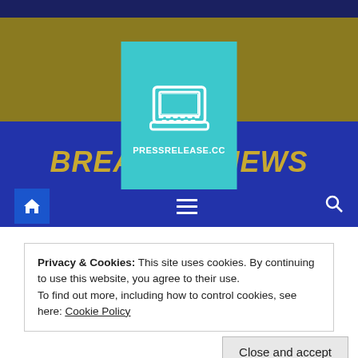[Figure (logo): PressRelease.cc website header with teal logo box featuring a laptop computer icon and the text PRESSRELEASE.CC, over olive/gold and blue banner with BREAKING NEWS italic text]
PRESSRELEASE.CC
BREAKING NEWS
Privacy & Cookies: This site uses cookies. By continuing to use this website, you agree to their use.
To find out more, including how to control cookies, see here: Cookie Policy
Close and accept
Morrison Moving